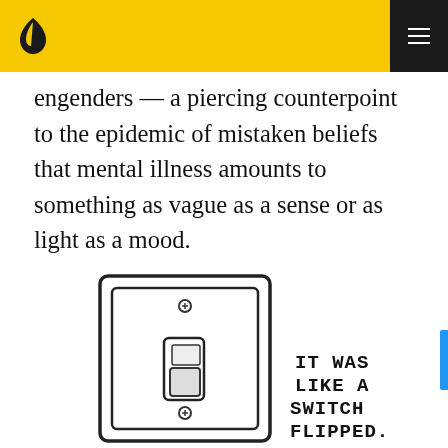[Lithub logo] [menu icon]
engenders — a piercing counterpoint to the epidemic of mistaken beliefs that mental illness amounts to something as vague as a sense or as light as a mood.
[Figure (illustration): Hand-drawn illustration of a light switch on a wall plate with text 'IT WAS LIKE A SWITCH FLIPPED.' written next to it in block letters]